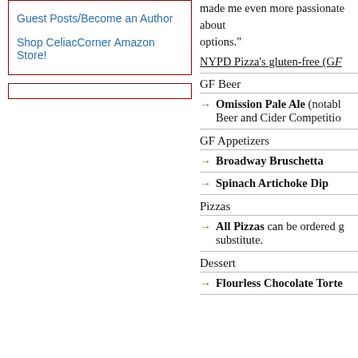Guest Posts/Become an Author
Shop CeliacCorner Amazon Store!
made me even more passionate about options."
NYPD Pizza's gluten-free (GF
GF Beer
Omission Pale Ale (notably Beer and Cider Competition
GF Appetizers
Broadway Bruschetta
Spinach Artichoke Dip
Pizzas
All Pizzas can be ordered g substitute.
Dessert
Flourless Chocolate Torte